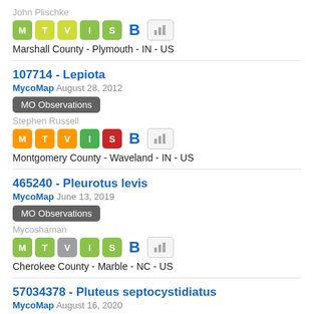John Plischke
M T V I S B [bar chart icon]
Marshall County - Plymouth - IN - US
107714 - Lepiota
MycoMap August 28, 2012
MO Observations
Stephen Russell
M T V I S B [bar chart icon]
Montgomery County - Waveland - IN - US
465240 - Pleurotus levis
MycoMap June 13, 2019
MO Observations
Mycoshaman
M T V I S B [bar chart icon]
Cherokee County - Marble - NC - US
57034378 - Pluteus septocystidiatus
MycoMap August 16, 2020